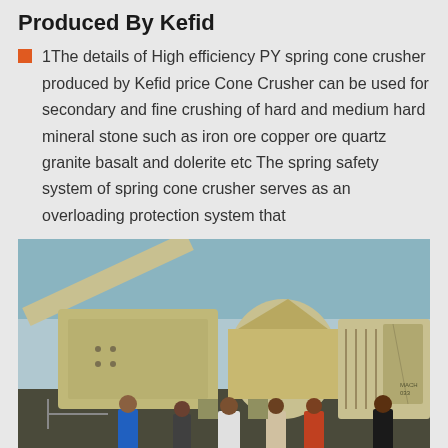Produced By Kefid
1The details of High efficiency PY spring cone crusher produced by Kefid price Cone Crusher can be used for secondary and fine crushing of hard and medium hard mineral stone such as iron ore copper ore quartz granite basalt and dolerite etc The spring safety system of spring cone crusher serves as an overloading protection system that
[Figure (photo): Photograph of a large yellow PY spring cone crusher machine at an outdoor industrial site, with several workers standing in front of it.]